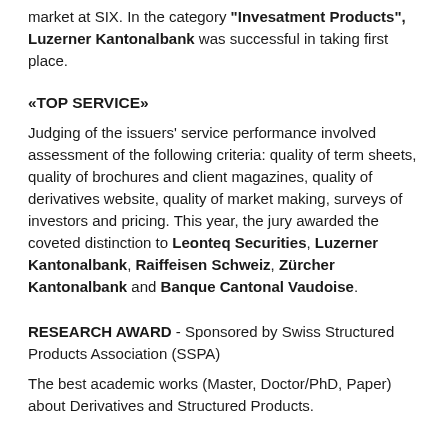market at SIX. In the category "Invesatment Products", Luzerner Kantonalbank was successful in taking first place.
«TOP SERVICE»
Judging of the issuers' service performance involved assessment of the following criteria: quality of term sheets, quality of brochures and client magazines, quality of derivatives website, quality of market making, surveys of investors and pricing. This year, the jury awarded the coveted distinction to Leonteq Securities, Luzerner Kantonalbank, Raiffeisen Schweiz, Zürcher Kantonalbank and Banque Cantonal Vaudoise.
RESEARCH AWARD - Sponsored by Swiss Structured Products Association (SSPA)
The best academic works (Master, Doctor/PhD, Paper) about Derivatives and Structured Products.